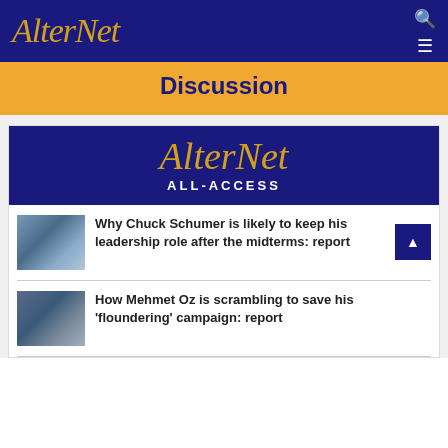AlterNet
Discussion
[Figure (logo): AlterNet All-Access banner with gold serif logo on dark blue background]
Why Chuck Schumer is likely to keep his leadership role after the midterms: report
How Mehmet Oz is scrambling to save his 'floundering' campaign: report